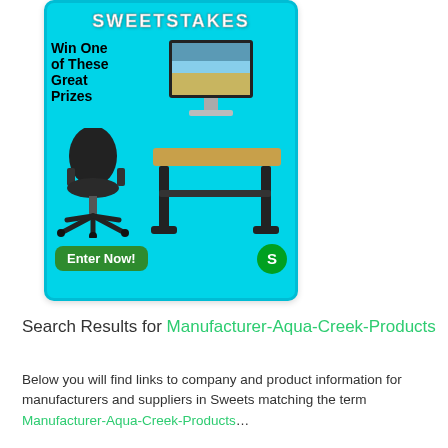[Figure (infographic): Sweepstakes advertisement banner on cyan/turquoise background. Header reads 'SWEETSTAKES'. Text says 'Win One of These Great Prizes'. Images show an iMac monitor, an office chair, and a standing desk. Bottom has a green 'Enter Now!' button and a green 'S' logo badge.]
Search Results for Manufacturer-Aqua-Creek-Products
Below you will find links to company and product information for manufacturers and suppliers in Sweets matching the term Manufacturer-Aqua-Creek-Products... more